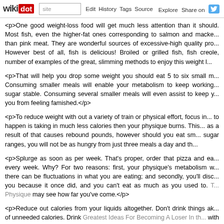wikidot | site | Edit | History | Tags | Source | Explore | Share on [Twitter]
<p>One good weight-loss food will get much less attention than it should. Most fish, even the higher-fat ones corresponding to salmon and macke... than pink meat. They are wonderful sources of excessive-high quality pro... However best of all, fish is delicious! Broiled or grilled fish, fish creole, number of examples of the great, slimming methods to enjoy this weight l...
<p>That will help you drop some weight you should eat 5 to six small m... Consuming smaller meals will enable your metabolism to keep working... sugar stable. Consuming several smaller meals will even assist to keep y... you from feeling famished.</p>
<p>To reduce weight with out a variety of train or physical effort, focus in... to happen is taking in much less calories then your physique burns. This... as a result of that causes rebound pounds, however should you eat sm... sugar ranges, you will not be as hungry from just three meals a day and th...
<p>Splurge as soon as per week. That's proper, order that pizza and ea... every week. Why? For two reasons: first, your physique's metabolism w... there can be fluctuations in what you are eating; and secondly, you'll disc... you because it once did, and you can't eat as much as you used to. T... Physique may see how far you've come.</p>
<p>Reduce out calories from your liquids altogether. Don't drink things ak... of unneeded calories. Drink Greatest Ideas For Becoming A Loser In th... with out sugar. Weight reduction And The Hidden Truths Untold is all t... should get calories out of your food.</p>
<p>To avoid consuming greater than you must, solely eat whenever you...